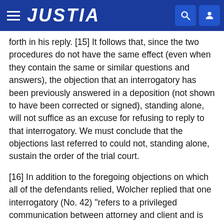JUSTIA
forth in his reply. [15] It follows that, since the two procedures do not have the same effect (even when they contain the same or similar questions and answers), the objection that an interrogatory has been previously answered in a deposition (not shown to have been corrected or signed), standing alone, will not suffice as an excuse for refusing to reply to that interrogatory. We must conclude that the objections last referred to could not, standing alone, sustain the order of the trial court.
[16] In addition to the foregoing objections on which all of the defendants relied, Wolcher replied that one interrogatory (No. 42) "refers to a privileged communication between attorney and client and is therefore irrelevant, immaterial and incompetent." Certainly, the requested interrogatory was not irrelevant or immaterial. Was it privileged? Only if it calls for (so